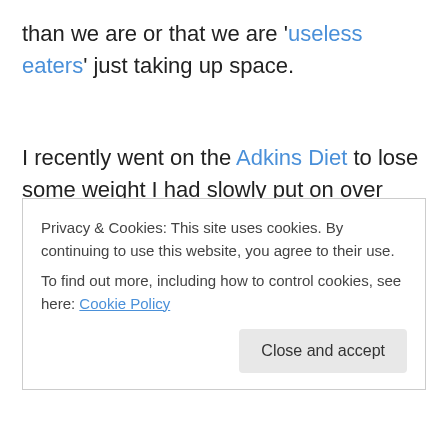than we are or that we are 'useless eaters' just taking up space.
I recently went on the Adkins Diet to lose some weight I had slowly put on over several years and virtually over-night I noticed how much better I felt in general.  The Adkins diet had always worked for me when I needed to shed a few pounds, but this was the first time that I really
Privacy & Cookies: This site uses cookies. By continuing to use this website, you agree to their use.
To find out more, including how to control cookies, see here: Cookie Policy
Close and accept
understatement! So once I started my new eating